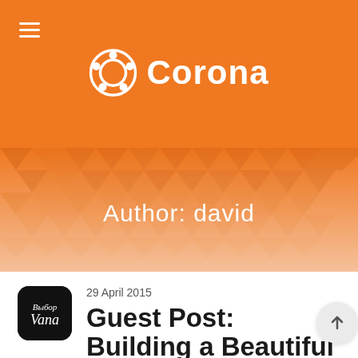Corona
Author: david
29 April 2015
Guest Post: Building a Beautiful Business App